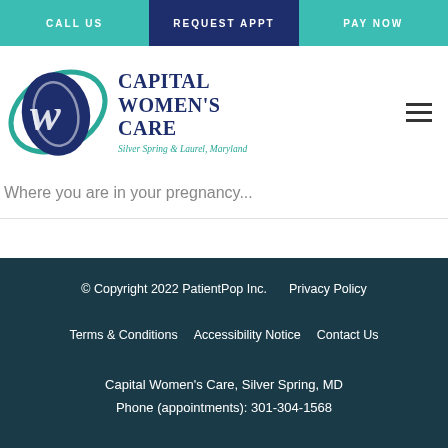CALL US | REQUEST APPT | PAY NOW
[Figure (logo): Capital Women's Care logo with stylized CW monogram in blue and green swoosh, text reads Capital Women's Care, Silver Spring & Laurel, Maryland]
Where you are in your pregnancy...
© Copyright 2022 PatientPop Inc.   Privacy Policy   Terms & Conditions   Accessibility Notice   Contact Us   Capital Women's Care, Silver Spring, MD   Phone (appointments): 301-304-1568